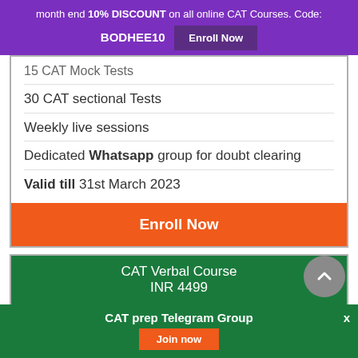month end 10% DISCOUNT on all online CAT Courses. Code: BODHEE10  Enroll Now
15 CAT Mock Tests
30 CAT sectional Tests
Weekly live sessions
Dedicated Whatsapp group for doubt clearing
Valid till 31st March 2023
Enroll Now
CAT Verbal Course
INR 4499
50+ Live Sessions
CAT prep Telegram Group
Join now